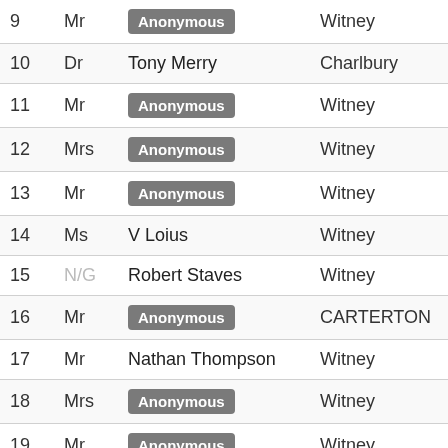| # | Title | Name | Location |
| --- | --- | --- | --- |
| 9 | Mr | Anonymous | Witney |
| 10 | Dr | Tony Merry | Charlbury |
| 11 | Mr | Anonymous | Witney |
| 12 | Mrs | Anonymous | Witney |
| 13 | Mr | Anonymous | Witney |
| 14 | Ms | V Loius | Witney |
| 15 | N/G | Robert Staves | Witney |
| 16 | Mr | Anonymous | CARTERTON |
| 17 | Mr | Nathan Thompson | Witney |
| 18 | Mrs | Anonymous | Witney |
| 19 | Mr | Anonymous | Witney |
| 20 | Mrs | Pauline Church | Witney |